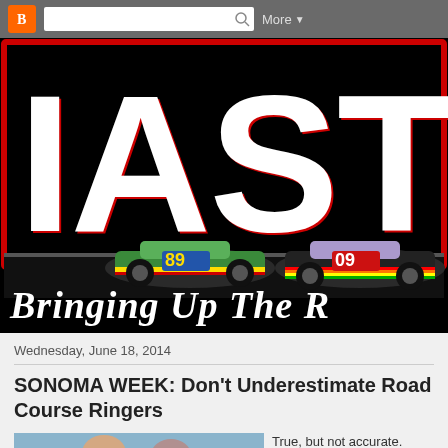Blogger navigation bar with search and More button
[Figure (logo): IAST blog banner on black background: large white letters 'IAST' with red outline, cartoon racing cars numbered 89 (green) and 09 (black/rainbow), cursive white text 'Bringing Up The R...']
Wednesday, June 18, 2014
SONOMA WEEK: Don't Underestimate Road Course Ringers
[Figure (photo): Partial photo of people, cropped at bottom of page]
True, but not accurate.